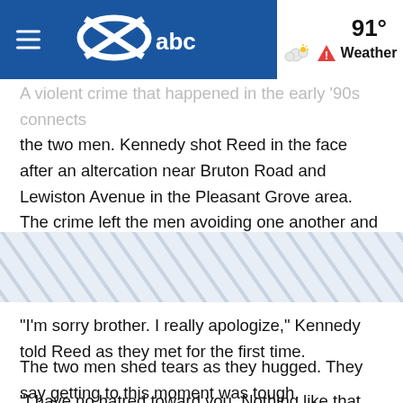91° Weather
A violent crime that happened in the early '90s connects the two men. Kennedy shot Reed in the face after an altercation near Bruton Road and Lewiston Avenue in the Pleasant Grove area. The crime left the men avoiding one another and feuding over three decades.
[Figure (other): Diagonal grey/blue striped pattern banner]
"I'm sorry brother. I really apologize," Kennedy told Reed as they met for the first time.
The two men shed tears as they hugged. They say getting to this moment was tough.
"I have no hatred toward you. Nothing like that. No ill feelings. It was just, I guess the heat of the moment. But we're good," Reed assured Kennedy as they sat with a small